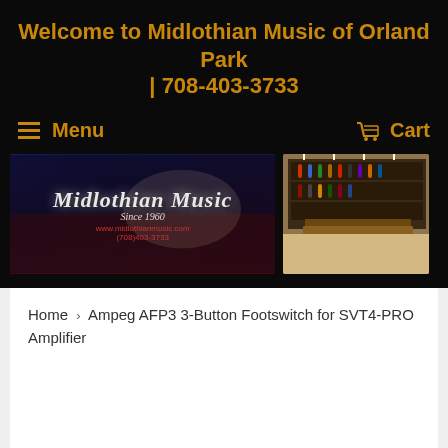Welcome to Midlothian Music of Orland Park | 708-403-3733
Menu
Cart
[Figure (photo): Midlothian Music store banner with guitar logo, US flag background, website and phone number]
[Figure (photo): Music store interior showing guitar displays on walls]
Home › Ampeg AFP3 3-Button Footswitch for SVT4-PRO Amplifier
[Figure (photo): Partial view of Ampeg AFP3 3-Button Footswitch product]